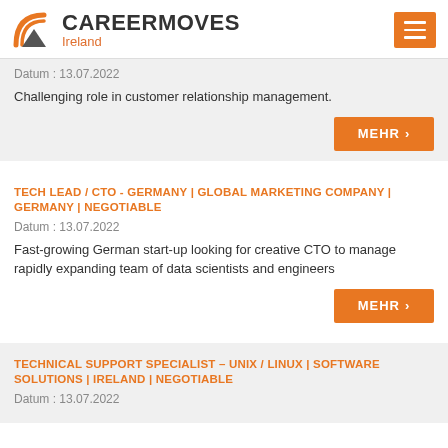CAREERMOVES Ireland
Datum : 13.07.2022
Challenging role in customer relationship management.
MEHR >
TECH LEAD / CTO - GERMANY | GLOBAL MARKETING COMPANY | GERMANY | NEGOTIABLE
Datum : 13.07.2022
Fast-growing German start-up looking for creative CTO to manage rapidly expanding team of data scientists and engineers
MEHR >
TECHNICAL SUPPORT SPECIALIST – UNIX / LINUX | SOFTWARE SOLUTIONS | IRELAND | NEGOTIABLE
Datum : 13.07.2022